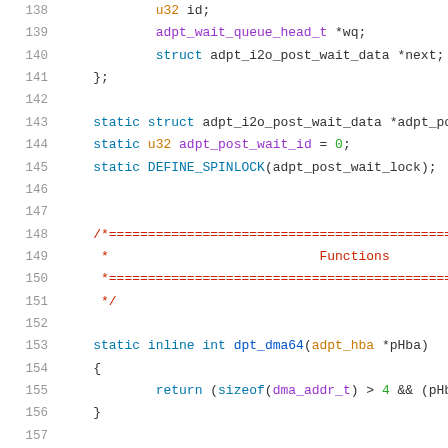[Figure (screenshot): Source code listing showing C code lines 138-159, with syntax highlighting. Lines include struct fields, static variable declarations, a comment block header, and function definitions for dpt_dma64 and dma_high.]